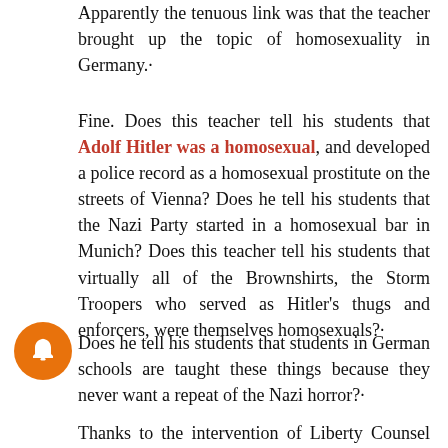Apparently the tenuous link was that the teacher brought up the topic of homosexuality in Germany.
Fine. Does this teacher tell his students that Adolf Hitler was a homosexual, and developed a police record as a homosexual prostitute on the streets of Vienna? Does he tell his students that the Nazi Party started in a homosexual bar in Munich? Does this teacher tell his students that virtually all of the Brownshirts, the Storm Troopers who served as Hitler's thugs and enforcers, were themselves homosexuals?
Does he tell his students that students in German schools are taught these things because they never want a repeat of the Nazi horror?
Thanks to the intervention of Liberty Counsel and